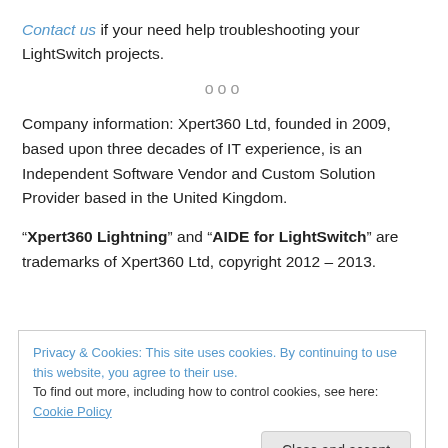Contact us if your need help troubleshooting your LightSwitch projects.
ooo
Company information: Xpert360 Ltd, founded in 2009, based upon three decades of IT experience, is an Independent Software Vendor and Custom Solution Provider based in the United Kingdom.
“Xpert360 Lightning” and “AIDE for LightSwitch” are trademarks of Xpert360 Ltd, copyright 2012 – 2013.
Privacy & Cookies: This site uses cookies. By continuing to use this website, you agree to their use. To find out more, including how to control cookies, see here: Cookie Policy
Close and accept